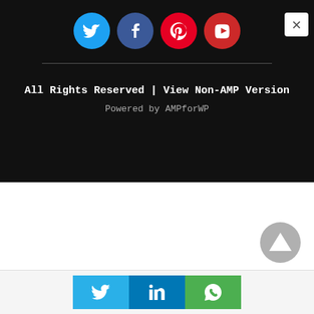[Figure (screenshot): Social share icons row: Twitter (blue circle), Facebook (dark blue circle), Pinterest (red circle), Email/YouTube (red circle), on dark background]
All Rights Reserved | View Non-AMP Version
Powered by AMPforWP
[Figure (other): Gray circular go-to-top button with triangle arrow pointing up]
[Figure (other): Bottom share bar with Twitter (blue), LinkedIn (blue), WhatsApp (green) icon buttons]